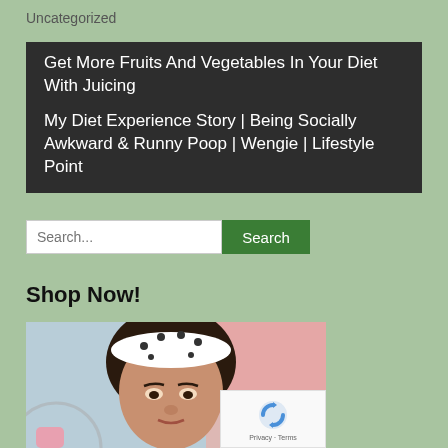Uncategorized
Get More Fruits And Vegetables In Your Diet With Juicing
My Diet Experience Story | Being Socially Awkward & Runny Poop | Wengie | Lifestyle Point
Search...
Search
Shop Now!
[Figure (photo): Woman with black polka dot headband, cropped face visible, with reCAPTCHA badge overlay bottom-right]
Privacy · Terms